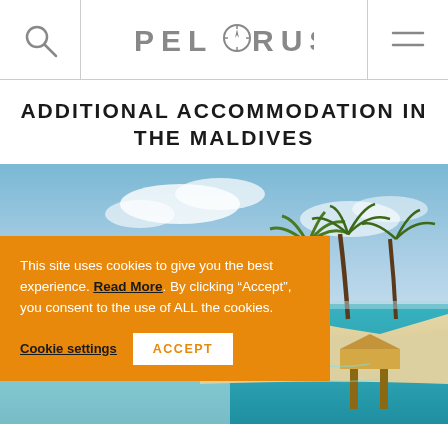PELORUS
ADDITIONAL ACCOMMODATION IN THE MALDIVES
[Figure (photo): Aerial/eye-level view of a tropical Maldives resort with palm trees, white sand beach, and turquoise water with overwater bungalows visible]
This site uses cookies to give you the best experience. Read More. By clicking “Accept”, you consent to the use of ALL the cookies.
Cookie settings  ACCEPT